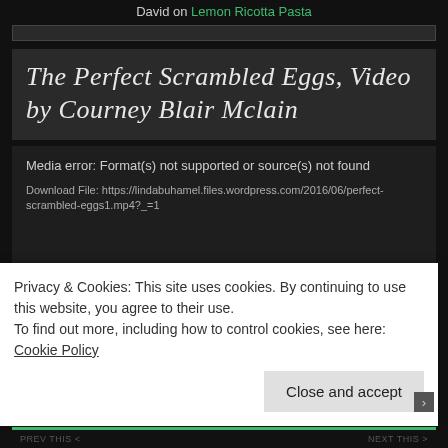David on Lemon Ricotta Pasta
The Perfect Scrambled Eggs, Video by Courney Blair Mclain
Media error: Format(s) not supported or source(s) not found
Download File: https://lindabuhamel.files.wordpress.com/2016/06/perfect-scrambled-eggs1.mp4?_=1
Privacy & Cookies: This site uses cookies. By continuing to use this website, you agree to their use.
To find out more, including how to control cookies, see here: Cookie Policy
Close and accept